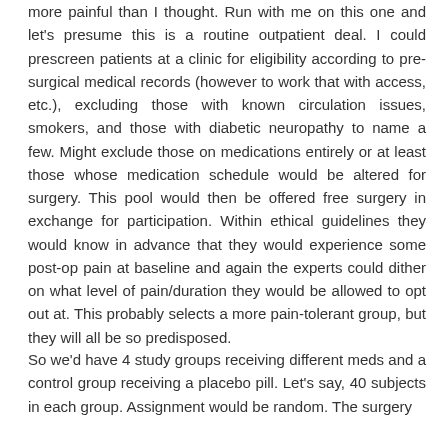more painful than I thought. Run with me on this one and let's presume this is a routine outpatient deal. I could prescreen patients at a clinic for eligibility according to pre-surgical medical records (however to work that with access, etc.), excluding those with known circulation issues, smokers, and those with diabetic neuropathy to name a few. Might exclude those on medications entirely or at least those whose medication schedule would be altered for surgery. This pool would then be offered free surgery in exchange for participation. Within ethical guidelines they would know in advance that they would experience some post-op pain at baseline and again the experts could dither on what level of pain/duration they would be allowed to opt out at. This probably selects a more pain-tolerant group, but they will all be so predisposed.
So we'd have 4 study groups receiving different meds and a control group receiving a placebo pill. Let's say, 40 subjects in each group. Assignment would be random. The surgery